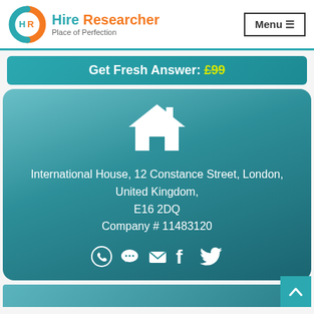[Figure (logo): Hire Researcher logo with circular HR icon in blue and orange, with text 'Hire Researcher' in teal and orange, subtitle 'Place of Perfection']
Menu ≡
Get Fresh Answer: £99
[Figure (illustration): White house/home icon on teal gradient background card]
International House, 12 Constance Street, London, United Kingdom, E16 2DQ Company # 11483120
[Figure (other): Social media icons: WhatsApp, chat bubble, email, Facebook, Twitter in white]